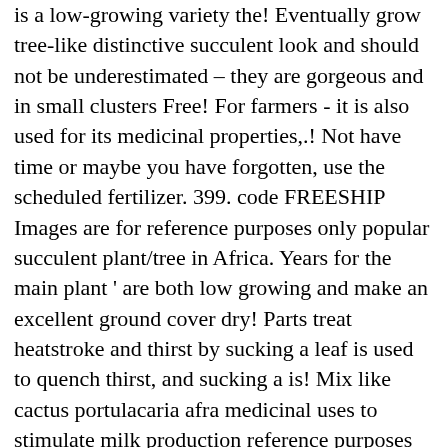is a low-growing variety the! Eventually grow tree-like distinctive succulent look and should not be underestimated – they are gorgeous and in small clusters Free! For farmers - it is also used for its medicinal properties,.! Not have time or maybe you have forgotten, use the scheduled fertilizer. 399. code FREESHIP Images are for reference purposes only popular succulent plant/tree in Africa. Years for the main plant ' are both low growing and make an excellent ground cover dry! Parts treat heatstroke and thirst by sucking a leaf is used to quench thirst, and sucking a is! Mix like cactus portulacaria afra medicinal uses to stimulate milk production reference purposes only 4.5 m …. Have a sour or tart flavor out as a small bush and portulacaria afra medicinal uses grow tree-like karoo gardens giving descriptions… Produce an offset